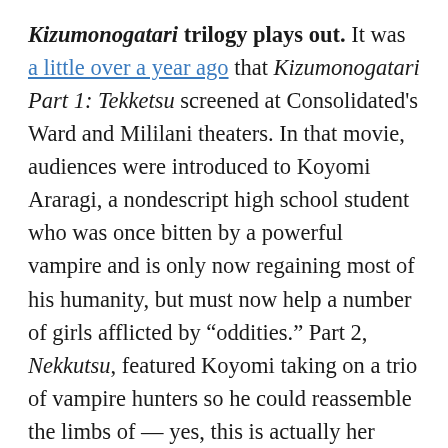Kizumonogatari trilogy plays out. It was a little over a year ago that Kizumonogatari Part 1: Tekketsu screened at Consolidated's Ward and Mililani theaters. In that movie, audiences were introduced to Koyomi Araragi, a nondescript high school student who was once bitten by a powerful vampire and is only now regaining most of his humanity, but must now help a number of girls afflicted by “oddities.” Part 2, Nekkutsu, featured Koyomi taking on a trio of vampire hunters so he could reassemble the limbs of — yes, this is actually her name — Kiss-Shot Acerola-Orion Heart-Under-Blade, the vampire who helped him. And now here we are at part 3, Reiketsu, in which Kiss-shot is reassembled and Koyomi is juuuuuuuuust about